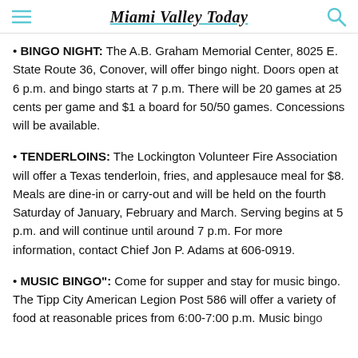Miami Valley Today
BINGO NIGHT: The A.B. Graham Memorial Center, 8025 E. State Route 36, Conover, will offer bingo night. Doors open at 6 p.m. and bingo starts at 7 p.m. There will be 20 games at 25 cents per game and $1 a board for 50/50 games. Concessions will be available.
TENDERLOINS: The Lockington Volunteer Fire Association will offer a Texas tenderloin, fries, and applesauce meal for $8. Meals are dine-in or carry-out and will be held on the fourth Saturday of January, February and March. Serving begins at 5 p.m. and will continue until around 7 p.m. For more information, contact Chief Jon P. Adams at 606-0919.
MUSIC BINGO": Come for supper and stay for music bingo. The Tipp City American Legion Post 586 will offer a variety of food at reasonable prices from 6:00-7:00 p.m. Music bingo